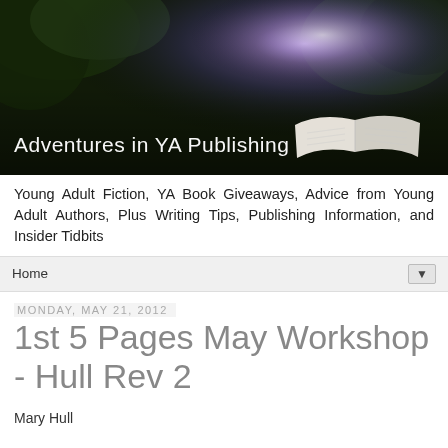[Figure (photo): Banner image for 'Adventures in YA Publishing' blog. Dark forest scene with light rays from center-right, and an open book in the lower right corner. White text reads 'Adventures in YA Publishing'.]
Young Adult Fiction, YA Book Giveaways, Advice from Young Adult Authors, Plus Writing Tips, Publishing Information, and Insider Tidbits
Home ▼
Monday, May 21, 2012
1st 5 Pages May Workshop - Hull Rev 2
Mary Hull